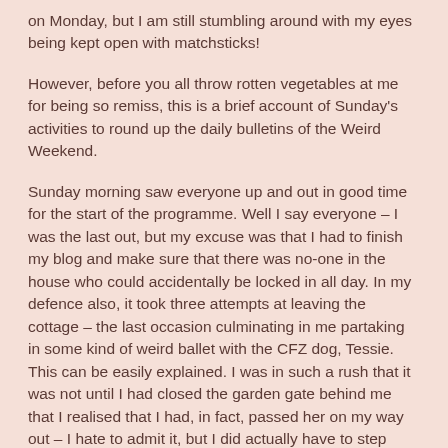on Monday, but I am still stumbling around with my eyes being kept open with matchsticks!
However, before you all throw rotten vegetables at me for being so remiss, this is a brief account of Sunday's activities to round up the daily bulletins of the Weird Weekend.
Sunday morning saw everyone up and out in good time for the start of the programme. Well I say everyone – I was the last out, but my excuse was that I had to finish my blog and make sure that there was no-one in the house who could accidentally be locked in all day. In my defence also, it took three attempts at leaving the cottage – the last occasion culminating in me partaking in some kind of weird ballet with the CFZ dog, Tessie. This can be easily explained. I was in such a rush that it was not until I had closed the garden gate behind me that I realised that I had, in fact, passed her on my way out – I hate to admit it, but I did actually have to step over her. I had registered her presence, but my brain had not reminded me, as quickly as it should have done, that she should, in truth, have been on the inside of the back door and not standing by the back gate. Oh well, it is an age thing